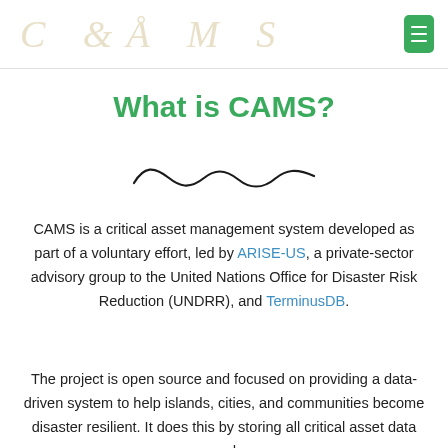CAMS
What is CAMS?
[Figure (illustration): Decorative squiggly line divider]
CAMS is a critical asset management system developed as part of a voluntary effort, led by ARISE-US, a private-sector advisory group to the United Nations Office for Disaster Risk Reduction (UNDRR), and TerminusDB.
The project is open source and focused on providing a data-driven system to help islands, cities, and communities become disaster resilient. It does this by storing all critical asset data and